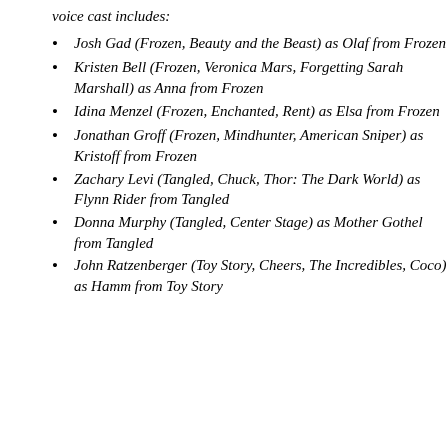voice cast includes:
Josh Gad (Frozen, Beauty and the Beast) as Olaf from Frozen
Kristen Bell (Frozen, Veronica Mars, Forgetting Sarah Marshall) as Anna from Frozen
Idina Menzel (Frozen, Enchanted, Rent) as Elsa from Frozen
Jonathan Groff (Frozen, Mindhunter, American Sniper) as Kristoff from Frozen
Zachary Levi (Tangled, Chuck, Thor: The Dark World) as Flynn Rider from Tangled
Donna Murphy (Tangled, Center Stage) as Mother Gothel from Tangled
John Ratzenberger (Toy Story, Cheers, The Incredibles, Coco) as Hamm from Toy Story